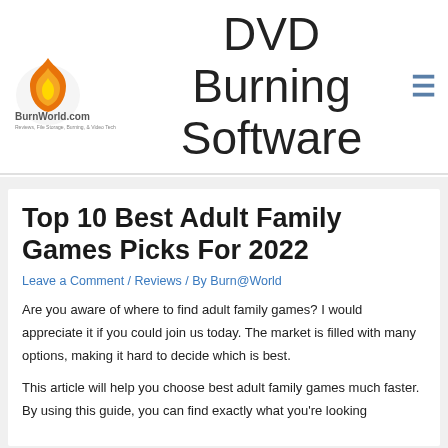DVD Burning Software
[Figure (logo): BurnWorld.com logo with flame icon and tagline: Reviews, File Storage, Burning, & Video Tech]
Top 10 Best Adult Family Games Picks For 2022
Leave a Comment / Reviews / By Burn@World
Are you aware of where to find adult family games? I would appreciate it if you could join us today. The market is filled with many options, making it hard to decide which is best.
This article will help you choose best adult family games much faster. By using this guide, you can find exactly what you're looking